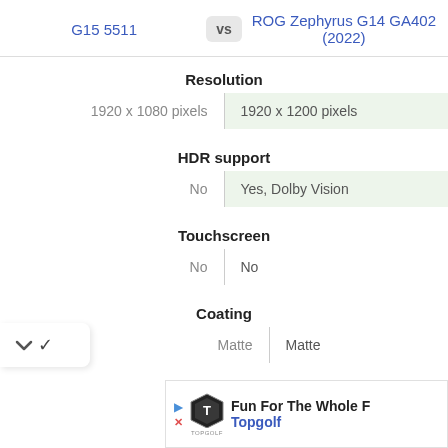G15 5511 vs ROG Zephyrus G14 GA402 (2022)
Resolution
| G15 5511 | ROG Zephyrus G14 GA402 (2022) |
| --- | --- |
| 1920 x 1080 pixels | 1920 x 1200 pixels |
HDR support
| G15 5511 | ROG Zephyrus G14 GA402 (2022) |
| --- | --- |
| No | Yes, Dolby Vision |
Touchscreen
| G15 5511 | ROG Zephyrus G14 GA402 (2022) |
| --- | --- |
| No | No |
Coating
| G15 5511 | ROG Zephyrus G14 GA402 (2022) |
| --- | --- |
| Matte | Matte |